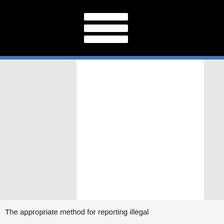[Figure (screenshot): Black top navigation bar with three white horizontal lines (hamburger menu icon) on the left side, followed by a blue accent line below the bar. Below is a white document content area against a gray background.]
The appropriate method for reporting illegal